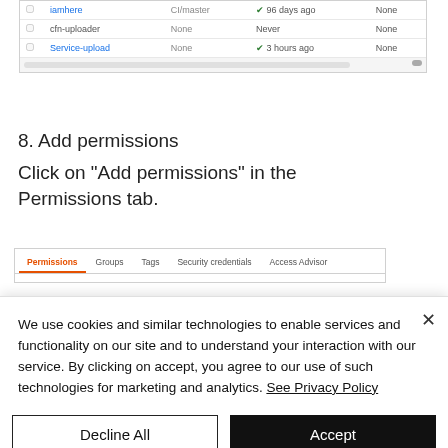[Figure (screenshot): AWS IAM users table showing rows: 'iamhere' with CI/master, 56 days ago, None; 'cfn-uploader' highlighted with red border, None, Never, None; 'Service-upload' with None, 3 hours ago, None. Horizontal scrollbar at bottom.]
8. Add permissions
Click on "Add permissions" in the Permissions tab.
[Figure (screenshot): AWS IAM tab navigation showing tabs: Permissions (active, orange underline), Groups, Tags, Security credentials, Access Advisor]
We use cookies and similar technologies to enable services and functionality on our site and to understand your interaction with our service. By clicking on accept, you agree to our use of such technologies for marketing and analytics. See Privacy Policy
Decline All
Accept
Cookie Settings